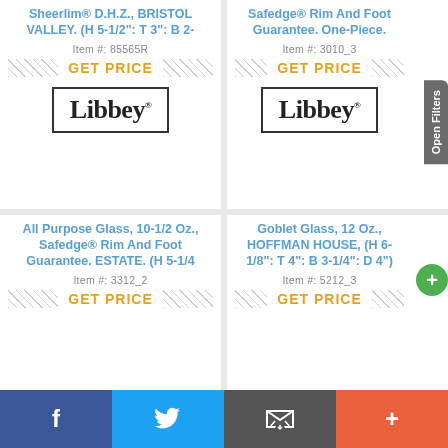Sheerlim® D.H.Z., BRISTOL VALLEY. (H 5-1/2": T 3": B 2-
Item #: 85565R
GET PRICE
[Figure (logo): Libbey brand logo in bold serif font inside a rectangular border]
Safedge® Rim And Foot Guarantee. One-Piece.
Item #: 3010_3
GET PRICE
[Figure (logo): Libbey brand logo in bold serif font inside a rectangular border]
All Purpose Glass, 10-1/2 Oz., Safedge® Rim And Foot Guarantee. ESTATE. (H 5-1/4
Item #: 3312_2
GET PRICE
Goblet Glass, 12 Oz., HOFFMAN HOUSE, (H 6-1/8": T 4": B 3-1/4": D 4")
Item #: 5212_3
GET PRICE